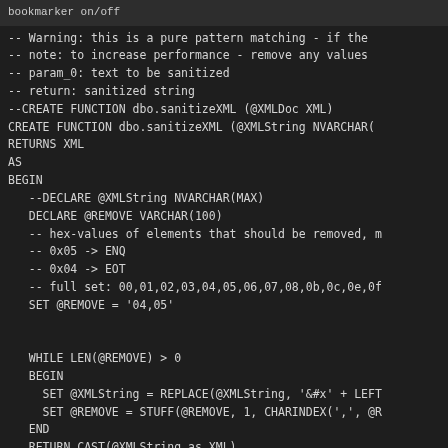bookmarker on/off
-- Warning: this is a pure pattern matching - if the
-- note: to increase performance - remove any values
-- param_0: text to be sanitized
-- return: sanitized string
--CREATE FUNCTION dbo.sanitizeXML (@XMLDoc XML)
CREATE FUNCTION dbo.sanitizeXML (@XMLString NVARCHAR(
RETURNS XML
AS
BEGIN
    --DECLARE @XMLString NVARCHAR(MAX)
    DECLARE @REMOVE VARCHAR(100)
    -- hex-values of elements that should be removed, m
    -- 0x05 -> ENQ
    -- 0x04 -> EOT
    -- full set: 00,01,02,03,04,05,06,07,08,0b,0c,0e,0f
    SET @REMOVE = '04,05'


    WHILE LEN(@REMOVE) > 0
    BEGIN
      SET @XMLString = REPLACE(@XMLString, '&#x' + LEFT
      SET @REMOVE = STUFF(@REMOVE, 1, CHARINDEX(',', @R
    END
    RETURN CAST(@XMLString as XML)
END